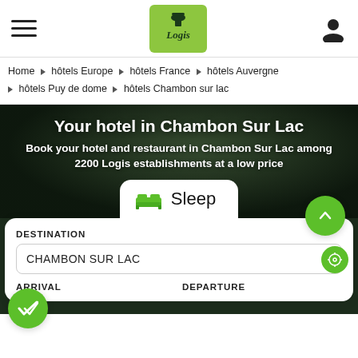[Figure (logo): Logis hotel chain logo - green square background with stylized lamp/house icon and 'Logis' text in dark green cursive]
Home ▶ hôtels Europe ▶ hôtels France ▶ hôtels Auvergne ▶ hôtels Puy de dome ▶ hôtels Chambon sur lac
Your hotel in Chambon Sur Lac
Book your hotel and restaurant in Chambon Sur Lac among 2200 Logis establishments at a low price
Sleep
DESTINATION
CHAMBON SUR LAC
ARRIVAL    DEPARTURE